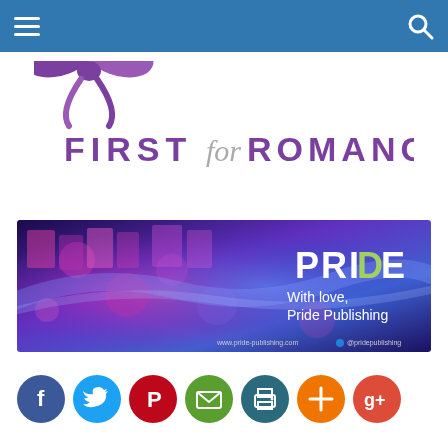[Figure (screenshot): Blue navigation bar with hamburger menu icon on left and search icon on right]
[Figure (logo): First for Romance logo with purple bow and stylized text reading FIRST for ROMANCE]
[Figure (illustration): Pride Publishing banner ad with purple/pink/blue abstract background, book covers collaged, text reading PRIDE With love, Pride Publishing, website www.pride-publishing.com and Twitter @pridepublishing]
[Figure (infographic): Social media share buttons row: Facebook (blue), Twitter (cyan), Pinterest (red), Email (green), Print (teal), Plus/More (orange), Google+ (red)]